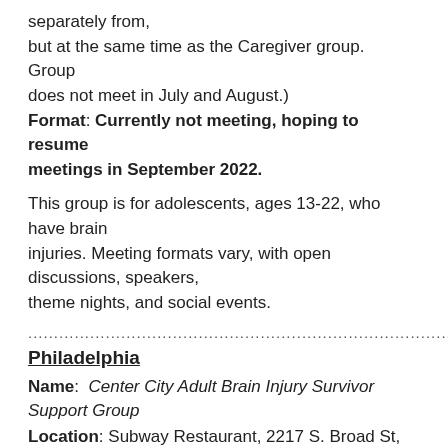separately from, but at the same time as the Caregiver group. Group does not meet in July and August.) Format: Currently not meeting, hoping to resume meetings in September 2022.
This group is for adolescents, ages 13-22, who have brain injuries. Meeting formats vary, with open discussions, speakers, theme nights, and social events.
..................................................................................
Philadelphia
Name: Center City Adult Brain Injury Survivor Support Group
Location: Subway Restaurant, 2217 S. Broad St, Philadelphia, PA 19148
Contact: Kate Morison, MA, LPC, CBIS: 267-309-1743, phillybraininjurygroup@outlook.com